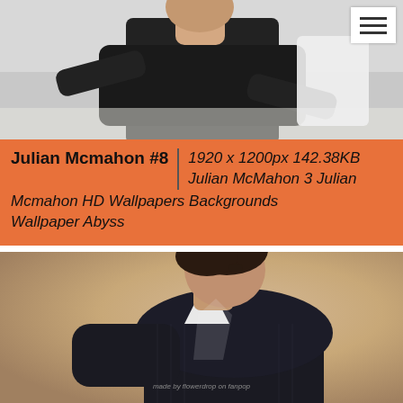[Figure (photo): Top portion of a man in dark suit, cropped, against light background. Menu/hamburger icon in top-right corner.]
Julian Mcmahon #8 | 1920 x 1200px 142.38KB Julian McMahon 3 Julian Mcmahon HD Wallpapers Backgrounds Wallpaper Abyss
[Figure (photo): Man in dark pinstripe suit with white shirt, looking over his shoulder, against a warm tan/brown background. Watermark reads: made by flowerdrop on fanpop]